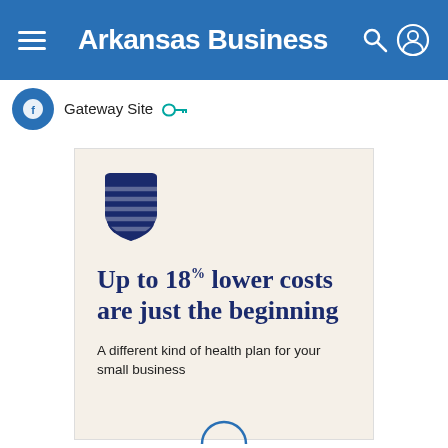Arkansas Business
Gateway Site
[Figure (illustration): UnitedHealth Group shield logo in dark navy blue with diagonal lines]
Up to 18% lower costs are just the beginning
A different kind of health plan for your small business